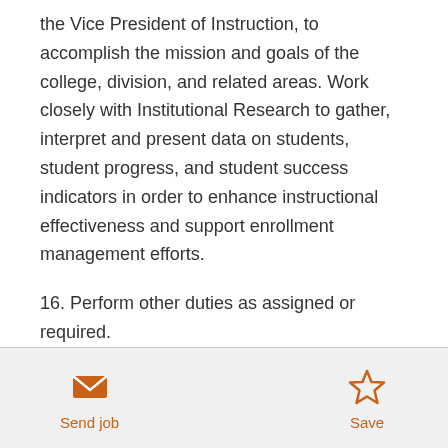the Vice President of Instruction, to accomplish the mission and goals of the college, division, and related areas. Work closely with Institutional Research to gather, interpret and present data on students, student progress, and student success indicators in order to enhance instructional effectiveness and support enrollment management efforts.
16. Perform other duties as assigned or required.
Minimum Qualifications
Send job | Save